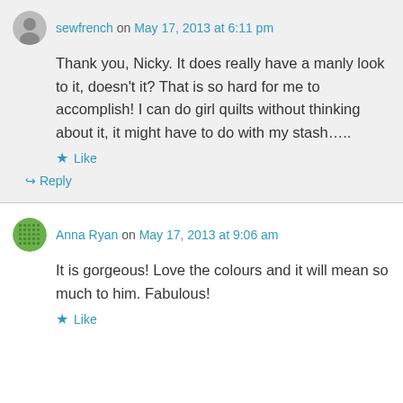sewfrench on May 17, 2013 at 6:11 pm
Thank you, Nicky. It does really have a manly look to it, doesn't it? That is so hard for me to accomplish! I can do girl quilts without thinking about it, it might have to do with my stash…..
Like
Reply
Anna Ryan on May 17, 2013 at 9:06 am
It is gorgeous! Love the colours and it will mean so much to him. Fabulous!
Like